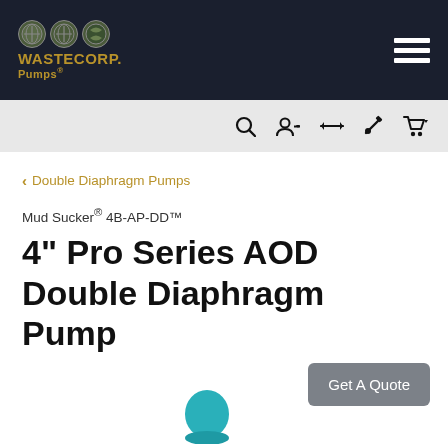WASTECORP. Pumps®
‹ Double Diaphragm Pumps
Mud Sucker® 4B-AP-DD™
4" Pro Series AOD Double Diaphragm Pump
Get A Quote